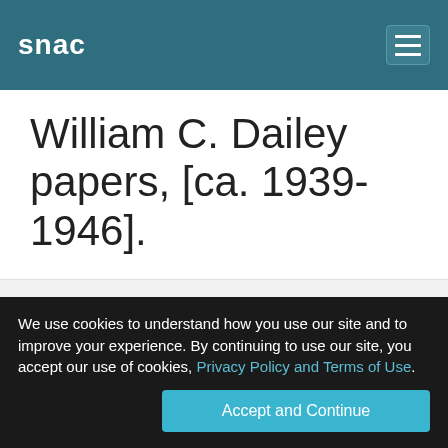snac
William C. Dailey papers, [ca. 1939-1946].
Resources / View Resource
Resource Type
ArchivalResource
Title
William C. Dailey papers, [ca. 1939-1946].
We use cookies to understand how you use our site and to improve your experience. By continuing to use our site, you accept our use of cookies, Privacy Policy and Terms of Use. Accept and Continue